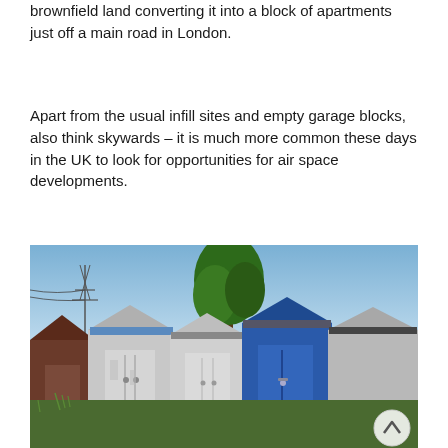brownfield land converting it into a block of apartments just off a main road in London.
Apart from the usual infill sites and empty garage blocks, also think skywards – it is much more common these days in the UK to look for opportunities for air space developments.
[Figure (photo): A row of old metal garage blocks with corrugated roofs in white and blue, with trees and a power line tower visible in the background under a blue sky.]